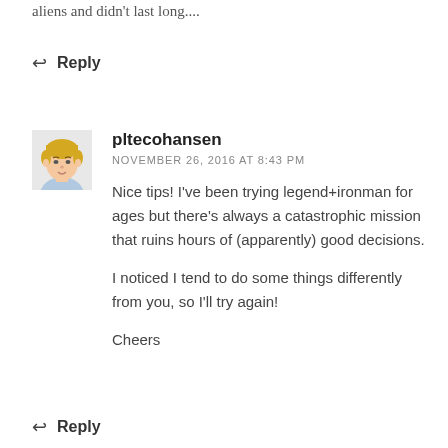aliens and didn't last long....
↩ Reply
pltecohansen
NOVEMBER 26, 2016 AT 8:43 PM
Nice tips! I've been trying legend+ironman for ages but there's always a catastrophic mission that ruins hours of (apparently) good decisions.
I noticed I tend to do some things differently from you, so I'll try again!
Cheers
↩ Reply